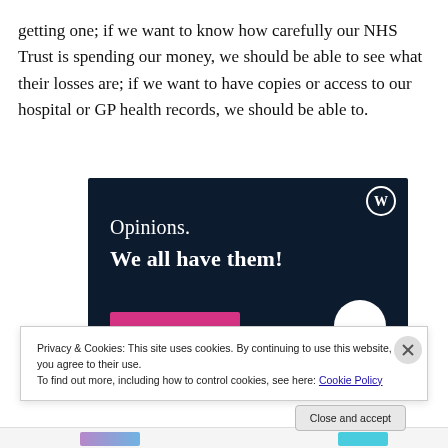getting one; if we want to know how carefully our NHS Trust is spending our money, we should be able to see what their losses are; if we want to have copies or access to our hospital or GP health records, we should be able to.
[Figure (illustration): Advertisement banner with dark navy background showing 'Opinions. We all have them!' text with WordPress logo, a pink button bar at bottom left and white circle at bottom right.]
Privacy & Cookies: This site uses cookies. By continuing to use this website, you agree to their use.
To find out more, including how to control cookies, see here: Cookie Policy
Close and accept